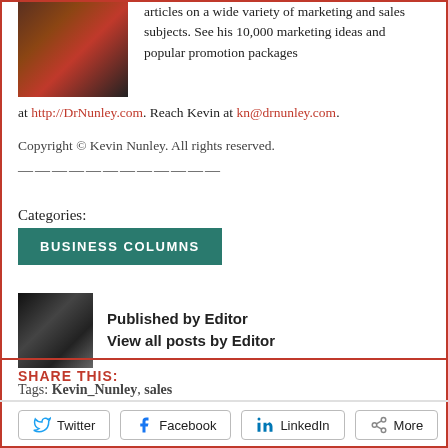[Figure (photo): Author photo: man in red shirt and dark jacket]
articles on a wide variety of marketing and sales subjects. See his 10,000 marketing ideas and popular promotion packages at http://DrNunley.com. Reach Kevin at kn@drnunley.com.
Copyright © Kevin Nunley. All rights reserved.
——————————————
Categories:
BUSINESS COLUMNS
[Figure (photo): Editor thumbnail photo]
Published by Editor
View all posts by Editor
Tags: Kevin_Nunley, sales
SHARE THIS:
Twitter  Facebook  LinkedIn  More